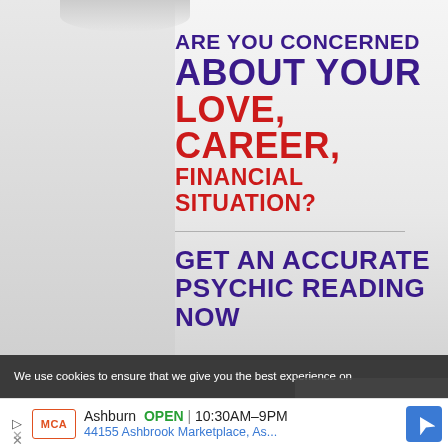[Figure (infographic): Psychic reading advertisement with blurred background image. Text overlay reads: ARE YOU CONCERNED ABOUT YOUR LOVE, CAREER, FINANCIAL SITUATION? GET AN ACCURATE PSYCHIC READING NOW]
We use cookies to ensure that we give you the best experience on
[Figure (infographic): Local business ad banner: MCA logo, Ashburn OPEN 10:30AM-9PM, 44155 Ashbrook Marketplace, As... with navigation arrow icon]